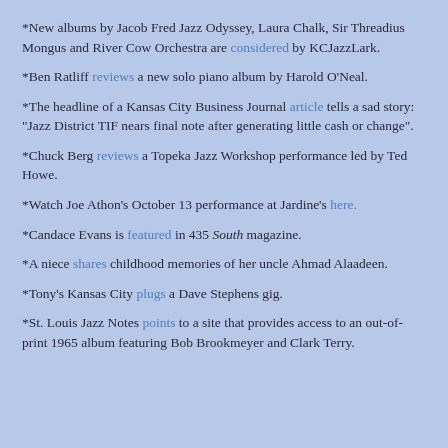*New albums by Jacob Fred Jazz Odyssey, Laura Chalk, Sir Threadius Mongus and River Cow Orchestra are considered by KCJazzLark.
*Ben Ratliff reviews a new solo piano album by Harold O'Neal.
*The headline of a Kansas City Business Journal article tells a sad story: "Jazz District TIF nears final note after generating little cash or change".
*Chuck Berg reviews a Topeka Jazz Workshop performance led by Ted Howe.
*Watch Joe Athon's October 13 performance at Jardine's here.
*Candace Evans is featured in 435 South magazine.
*A niece shares childhood memories of her uncle Ahmad Alaadeen.
*Tony's Kansas City plugs a Dave Stephens gig.
*St. Louis Jazz Notes points to a site that provides access to an out-of-print 1965 album featuring Bob Brookmeyer and Clark Terry.